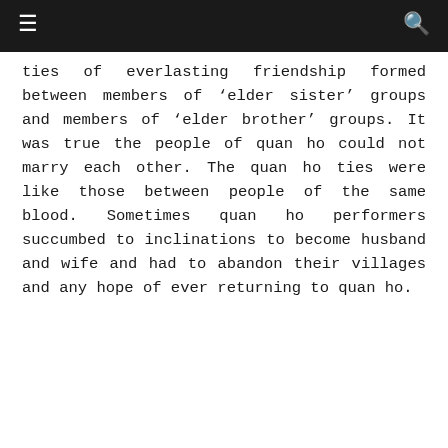≡  🔍
ties of everlasting friendship formed between members of 'elder sister' groups and members of 'elder brother' groups. It was true the people of quan ho could not marry each other. The quan ho ties were like those between people of the same blood. Sometimes quan ho performers succumbed to inclinations to become husband and wife and had to abandon their villages and any hope of ever returning to quan ho.